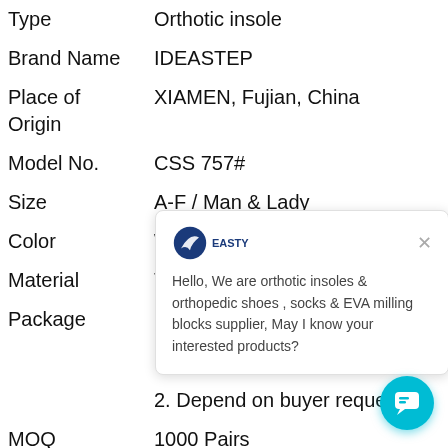| Attribute | Value |
| --- | --- |
| Type | Orthotic insole |
| Brand Name | IDEASTEP |
| Place of Origin | XIAMEN, Fujian, China |
| Model No. | CSS 757# |
| Size | A-F / Man & Lady |
| Color | White and... |
| Material | TPU |
| Package | 1. Support ... bag
2. Depend on buyer request |
| MOQ | 1000 Pairs |
Hello, We are orthotic insoles & orthopedic shoes , socks & EVA milling blocks supplier, May I know your interested products?